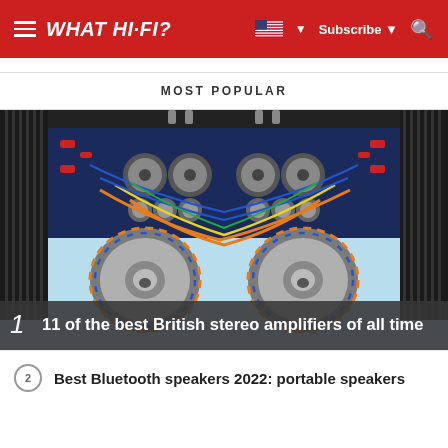WHAT HI-FI?
MOST POPULAR
[Figure (photo): Interior of a British stereo amplifier showing toroidal transformers, capacitors, heat sinks, and colorful wiring on a light blue background]
1  11 of the best British stereo amplifiers of all time
2  Best Bluetooth speakers 2022: portable speakers